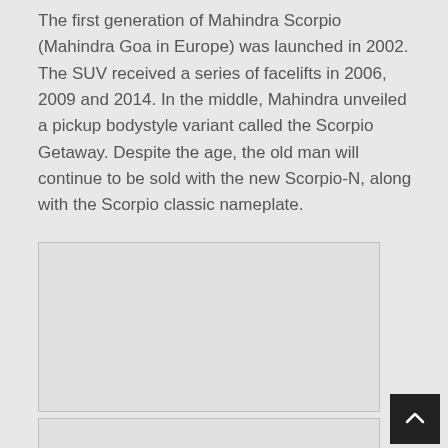The first generation of Mahindra Scorpio (Mahindra Goa in Europe) was launched in 2002. The SUV received a series of facelifts in 2006, 2009 and 2014. In the middle, Mahindra unveiled a pickup bodystyle variant called the Scorpio Getaway. Despite the age, the old man will continue to be sold with the new Scorpio-N, along with the Scorpio classic nameplate.
[Figure (photo): Empty image placeholder box (light gray rectangle with border)]
[Figure (photo): Partial empty image placeholder box at bottom of page]